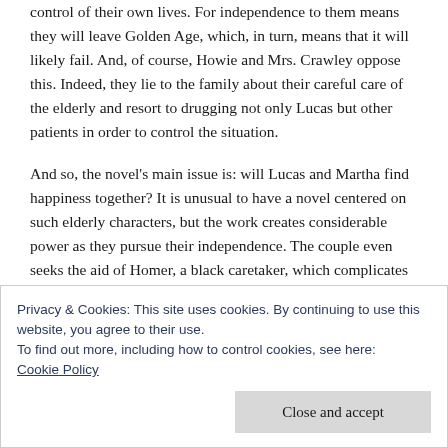control of their own lives. For independence to them means they will leave Golden Age, which, in turn, means that it will likely fail. And, of course, Howie and Mrs. Crawley oppose this. Indeed, they lie to the family about their careful care of the elderly and resort to drugging not only Lucas but other patients in order to control the situation.
And so, the novel's main issue is: will Lucas and Martha find happiness together? It is unusual to have a novel centered on such elderly characters, but the work creates considerable power as they pursue their independence. The couple even seeks the aid of Homer, a black caretaker, which complicates the novel, since this story is set in Mississippi. We delve rather deeply into Homer's mind, in fact, as he
Privacy & Cookies: This site uses cookies. By continuing to use this website, you agree to their use.
To find out more, including how to control cookies, see here: Cookie Policy